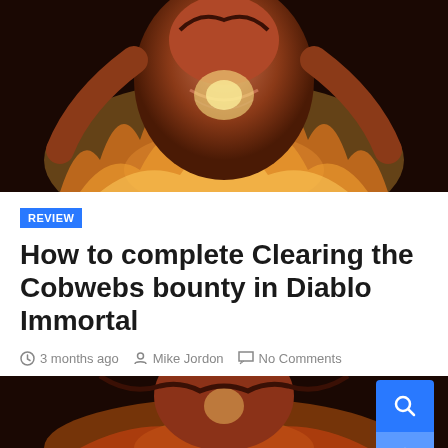[Figure (illustration): Dark fantasy artwork showing a demonic figure with muscular torso, flames and fire in background, orange and red color tones]
REVIEW
How to complete Clearing the Cobwebs bounty in Diablo Immortal
3 months ago  Mike Jordon  No Comments
[Figure (screenshot): Google search bar with 'ENHANCED BY Google' label and a blue search button with magnifying glass icon, and a blue up-arrow button below it]
[Figure (illustration): Bottom partial view of dark fantasy demon artwork, same style as top image]